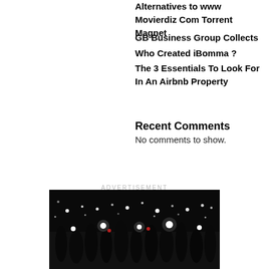Alternatives to www Movierdiz Com Torrent Magnet
GB Business Group Collects
Who Created iBomma ?
The 3 Essentials To Look For In An Airbnb Property
Recent Comments
No comments to show.
ADVERTISEMENT
[Figure (photo): Night concert crowd with people holding up phones and lighters, dark background with glowing lights]